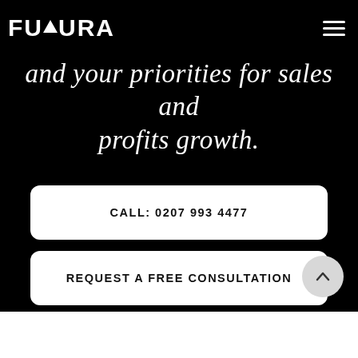FUTURA
and your priorities for sales and profits growth.
CALL: 0207 993 4477
REQUEST A FREE CONSULTATION